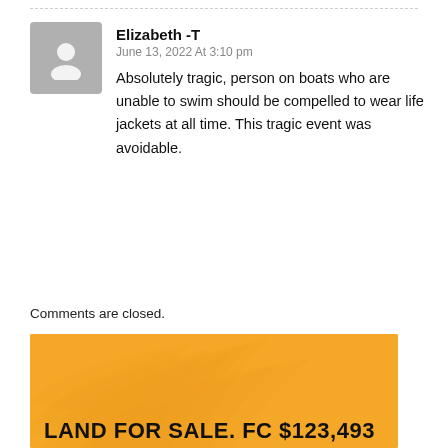Elizabeth -T
June 13, 2022 At 3:10 pm
Absolutely tragic, person on boats who are unable to swim should be compelled to wear life jackets at all time. This tragic event was avoidable.
Comments are closed.
[Figure (photo): Orange/yellow advertisement banner with palm leaf pattern and text 'LAND FOR SALE. FC $123,493']